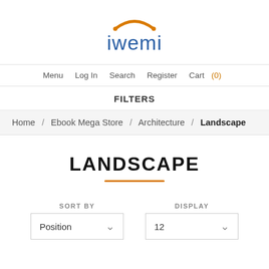[Figure (logo): iwemi logo with orange swoosh above text in blue]
Menu  Log In  Search  Register  Cart (0)
FILTERS
Home / Ebook Mega Store / Architecture / Landscape
LANDSCAPE
SORT BY: Position   DISPLAY: 12